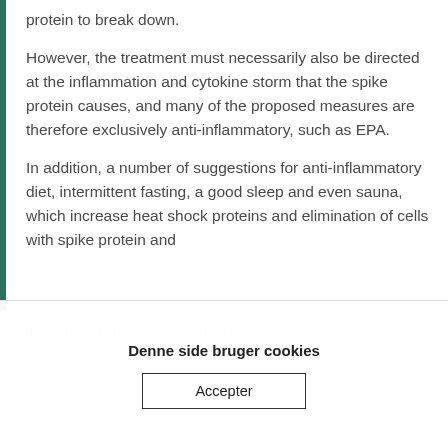protein to break down.
However, the treatment must necessarily also be directed at the inflammation and cytokine storm that the spike protein causes, and many of the proposed measures are therefore exclusively anti-inflammatory, such as EPA.
In addition, a number of suggestions for anti-inflammatory diet, intermittent fasting, a good sleep and even sauna, which increase heat shock proteins and elimination of cells with spike protein and
Denne side bruger cookies
Accepter